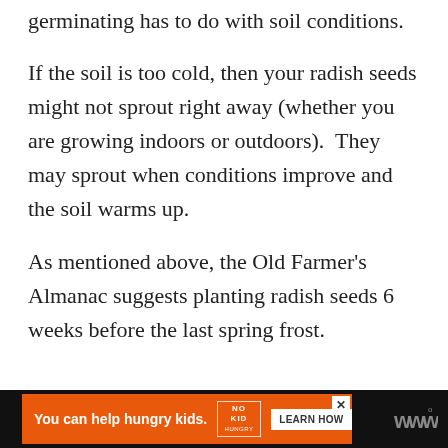And the reason your radish seeds are not germinating has to do with soil conditions.
If the soil is too cold, then your radish seeds might not sprout right away (whether you are growing indoors or outdoors).  They may sprout when conditions improve and the soil warms up.
As mentioned above, the Old Farmer's Almanac suggests planting radish seeds 6 weeks before the last spring frost.
[Figure (other): Orange advertisement banner at the bottom of the page with dark background. Text reads 'You can help hungry kids.' with No Kid Hungry logo and a 'LEARN HOW' button. WW logo appears on the right side.]